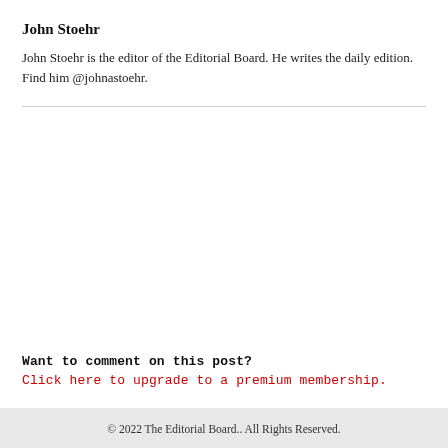John Stoehr
John Stoehr is the editor of the Editorial Board. He writes the daily edition. Find him @johnastoehr.
Want to comment on this post?
Click here to upgrade to a premium membership.
© 2022 The Editorial Board.. All Rights Reserved.